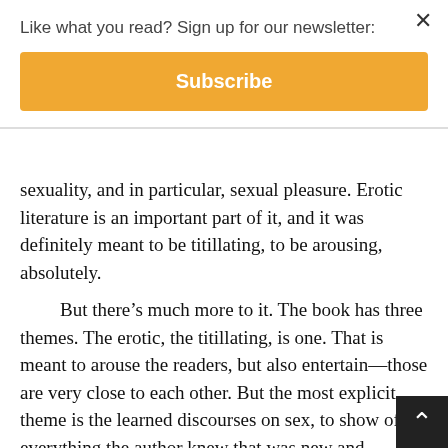Like what you read? Sign up for our newsletter:
Subscribe
sexuality, and in particular, sexual pleasure. Erotic literature is an important part of it, and it was definitely meant to be titillating, to be arousing, absolutely.
But there's much more to it. The book has three themes. The erotic, the titillating, is one. That is meant to arouse the readers, but also entertain—those are very close to each other. But the most explicit theme is the learned discourses on sex, to show off everything the author knew that was new and modern, freshly translated from Greek and Persian. It is addressed to a specific class of readers, to male readers, to educate them but also to make them feel exclusive. Because this is exclusive, complex knowledge.
The third is sex education. A lot of it looks like it's taken from the Indian tradition, but other sources, too. The a really wants to teach men the male reader how to pl